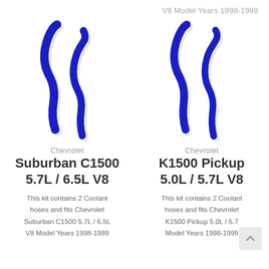V8 Model Years 1998-1999
[Figure (photo): Two blue silicone coolant hoses for Chevrolet Suburban C1500]
Chevrolet
Suburban C1500 5.7L / 6.5L V8
This kit contains 2 Coolant hoses and fits Chevrolet Suburban C1500 5.7L / 6.5L V8 Model Years 1998-1999
[Figure (photo): Two blue silicone coolant hoses for Chevrolet K1500 Pickup]
Chevrolet
K1500 Pickup 5.0L / 5.7L V8
This kit contains 2 Coolant hoses and fits Chevrolet K1500 Pickup 5.0L / 5.7L Model Years 1998-1999